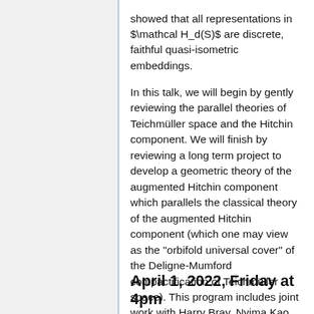showed that all representations in $\mathcal H_d(S)$ are discrete, faithful quasi-isometric embeddings.
In this talk, we will begin by gently reviewing the parallel theories of Teichmüller space and the Hitchin component. We will finish by reviewing a long term project to develop a geometric theory of the augmented Hitchin component which parallels the classical theory of the augmented Hitchin component (which one may view as the "orbifold universal cover" of the Deligne-Mumford compactification of Teichmüller space). This program includes joint work with Harry Bray, Nyima Kao, Giuseppe Martone, Tengren Zhang and Andy Zimmer.
April 1, 2022, Friday at 4pm